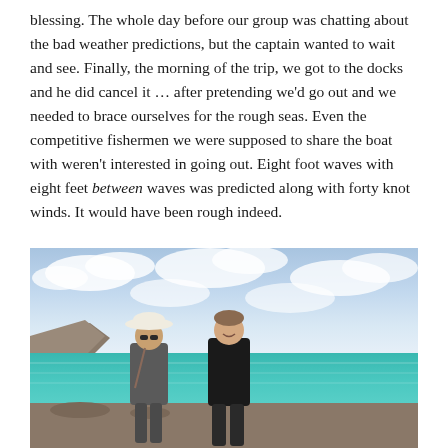blessing. The whole day before our group was chatting about the bad weather predictions, but the captain wanted to wait and see. Finally, the morning of the trip, we got to the docks and he did cancel it … after pretending we'd go out and we needed to brace ourselves for the rough seas. Even the competitive fishermen we were supposed to share the boat with weren't interested in going out. Eight foot waves with eight feet between waves was predicted along with forty knot winds. It would have been rough indeed.
[Figure (photo): Two people (a woman wearing a wide-brimmed white hat and sunglasses, and a man in a black polo shirt) standing together outdoors near a rocky coastal cliff with turquoise ocean water and a partly cloudy sky in the background.]